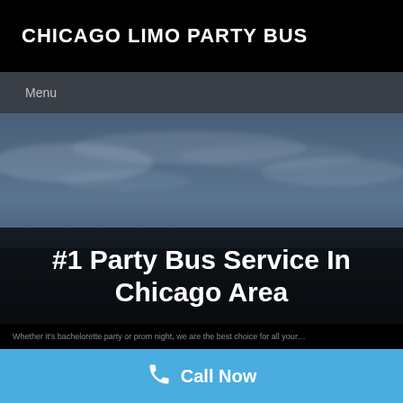CHICAGO LIMO PARTY BUS
Menu
[Figure (photo): Cloudy sky background image used as hero section backdrop, showing dusk or overcast sky with blue-grey tones.]
#1 Party Bus Service In Chicago Area
Call Now